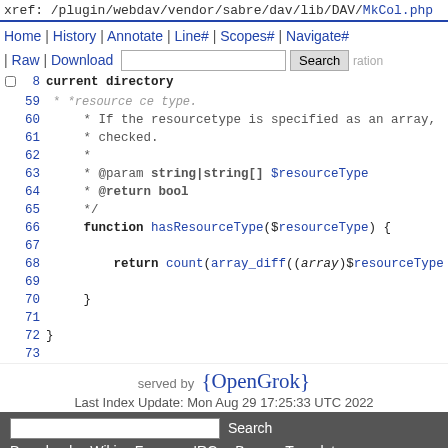xref: /plugin/webdav/vendor/sabre/dav/lib/DAV/MkCol.php
Home | History | Annotate | Line# | Scopes# | Navigate# | Raw | Download | Search
58 current directory
59
60     * If the resourcetype is specified as an array,
61     * checked.
62     *
63     * @param string|string[] $resourceType
64     * @return bool
65     */
66     function hasResourceType($resourceType) {
67
68         return count(array_diff((array)$resourceType
69
70     }
71
72 }
73
served by {OpenGrok}
Last Index Update: Mon Aug 29 17:25:33 UTC 2022
Search | Download | Wiki | Forum | IRC | Bugs | Translate | Git | XRef | Code Search